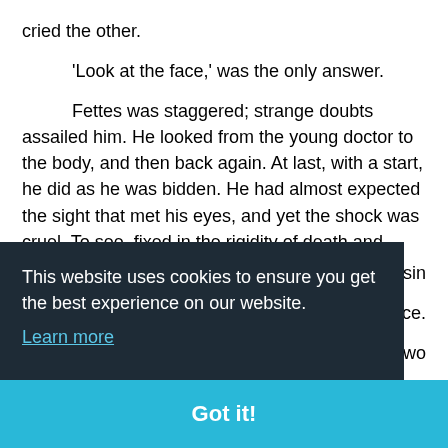cried the other.
'Look at the face,' was the only answer.
Fettes was staggered; strange doubts assailed him. He looked from the young doctor to the body, and then back again. At last, with a start, he did as he was bidden. He had almost expected the sight that met his eyes, and yet the shock was cruel. To see, fixed in the rigidity of death and naked on that coarse layer of sackcloth, the
sin
nce.
two
ese
lis
nge
This website uses cookies to ensure you get the best experience on our website. Learn more
Got it!